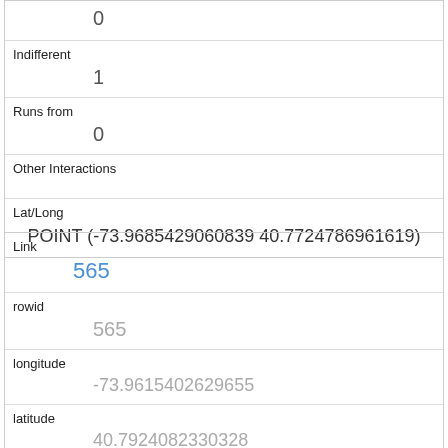| 0 |
| Indifferent | 1 |
| Runs from | 0 |
| Other Interactions |  |
| Lat/Long | POINT (-73.9685429060839 40.7724786961619) |
| Link | 565 |
| rowid | 565 |
| longitude | -73.9615402629655 |
| latitude | 40.7924082330328 |
| Unique Squirrel ID | 33C-AM-1012-02 |
| Hectare |  |